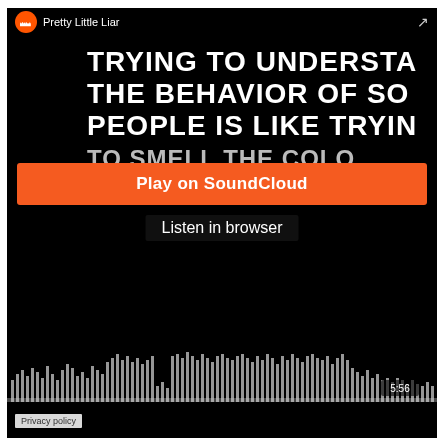Pretty Little Liar
TRYING TO UNDERSTAND THE BEHAVIOR OF SOME PEOPLE IS LIKE TRYING TO SMELL THE COLOR
Play on SoundCloud
Listen in browser
[Figure (other): Audio waveform visualization with time label 5:56]
Privacy policy